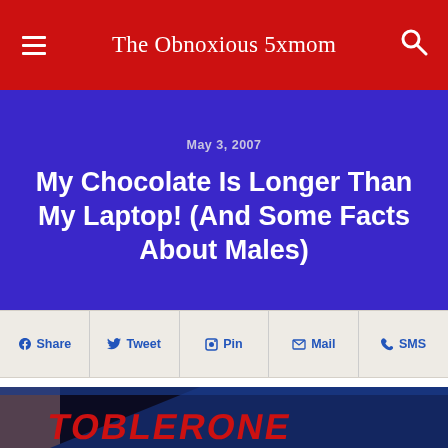The Obnoxious 5xmom
May 3, 2007
My Chocolate Is Longer Than My Laptop! (And Some Facts About Males)
Share | Tweet | Pin | Mail | SMS
[Figure (photo): Close-up photo of a Toblerone chocolate bar packaging with blue and dark background]